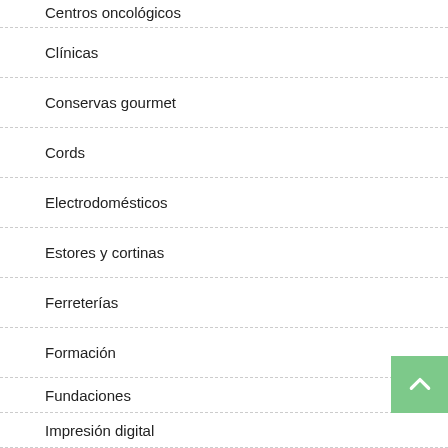Centros oncológicos
Clínicas
Conservas gourmet
Cords
Electrodomésticos
Estores y cortinas
Ferreterías
Formación
Fundaciones
Impresión digital